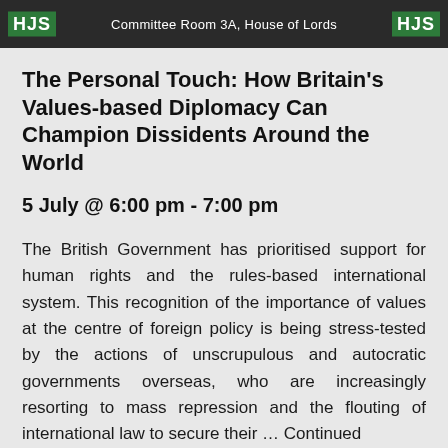[Figure (screenshot): Header banner with HJS logos on left and right, and text 'Committee Room 3A, House of Lords' in center on dark background]
The Personal Touch: How Britain's Values-based Diplomacy Can Champion Dissidents Around the World
5 July @ 6:00 pm - 7:00 pm
The British Government has prioritised support for human rights and the rules-based international system. This recognition of the importance of values at the centre of foreign policy is being stress-tested by the actions of unscrupulous and autocratic governments overseas, who are increasingly resorting to mass repression and the flouting of international law to secure their ... Continued